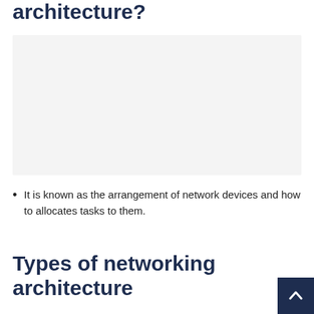architecture?
[Figure (other): Blank light gray placeholder image box]
It is known as the arrangement of network devices and how to allocates tasks to them.
Types of networking architecture